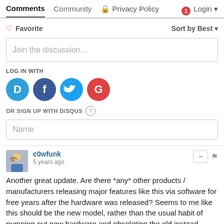Comments  Community  Privacy Policy  1  Login
Favorite  Sort by Best
Join the discussion…
LOG IN WITH
[Figure (illustration): Social login icons: Disqus (D), Facebook (f), Twitter bird, Google (G)]
OR SIGN UP WITH DISQUS ?
Name
c0wfunk
5 years ago
Another great update. Are there *any* other products / manufacturers releasing major features like this via software for free years after the hardware was released? Seems to me like this should be the new model, rather than the usual habit of pumping out new hardware and obsoleting the old instead.